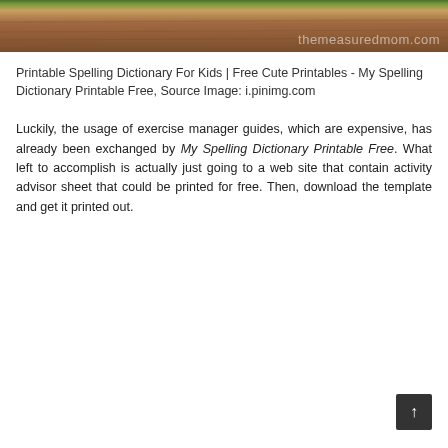[Figure (photo): Photo of spelling dictionary printable materials on a wooden table with a watermark reading 'themeasuredmom.com']
Printable Spelling Dictionary For Kids | Free Cute Printables - My Spelling Dictionary Printable Free, Source Image: i.pinimg.com
Luckily, the usage of exercise manager guides, which are expensive, has already been exchanged by My Spelling Dictionary Printable Free. What left to accomplish is actually just going to a web site that contain activity advisor sheet that could be printed for free. Then, download the template and get it printed out.